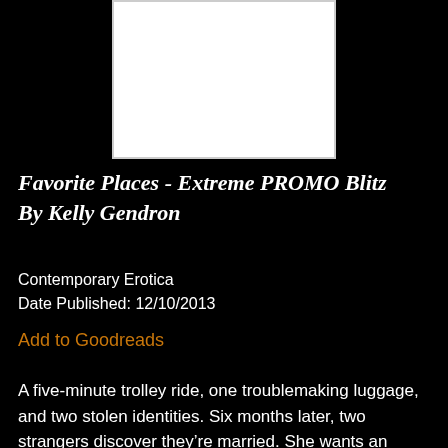[Figure (other): Book cover image - white rectangular placeholder with border]
Favorite Places - Extreme PROMO Blitz By Kelly Gendron
Contemporary Erotica
Date Published: 12/10/2013
Add to Goodreads
A five-minute trolley ride, one troublemaking luggage, and two stolen identities. Six months later, two strangers discover they’re married. She wants an annulment. He